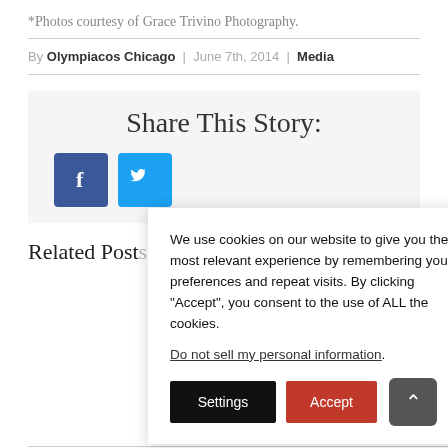*Photos courtesy of Grace Trivino Photography.
By Olympiacos Chicago | June 7th, 2014 | Media
Share This Story:
[Figure (infographic): Facebook and Twitter social share buttons]
We use cookies on our website to give you the most relevant experience by remembering your preferences and repeat visits. By clicking “Accept”, you consent to the use of ALL the cookies.
Do not sell my personal information.
Settings  Accept
Related Post